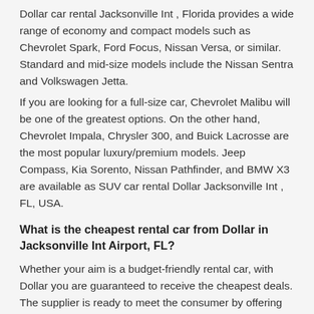Dollar car rental Jacksonville Int , Florida provides a wide range of economy and compact models such as Chevrolet Spark, Ford Focus, Nissan Versa, or similar. Standard and mid-size models include the Nissan Sentra and Volkswagen Jetta.
If you are looking for a full-size car, Chevrolet Malibu will be one of the greatest options. On the other hand, Chevrolet Impala, Chrysler 300, and Buick Lacrosse are the most popular luxury/premium models. Jeep Compass, Kia Sorento, Nissan Pathfinder, and BMW X3 are available as SUV car rental Dollar Jacksonville Int , FL, USA.
What is the cheapest rental car from Dollar in Jacksonville Int Airport, FL?
Whether your aim is a budget-friendly rental car, with Dollar you are guaranteed to receive the cheapest deals. The supplier is ready to meet the consumer by offering quality cars at the lowest price.
The most beneficial deal at Jacksonville Int JAX Airport is the